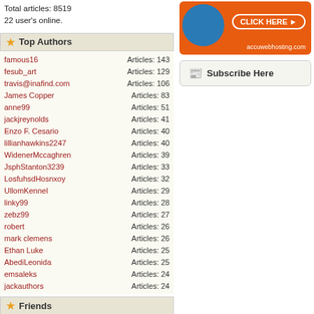Total articles: 8519
22 user's online.
Top Authors
| Author | Articles |
| --- | --- |
| famous16 | Articles: 143 |
| fesub_art | Articles: 129 |
| travis@inafind.com | Articles: 106 |
| James Copper | Articles: 83 |
| anne99 | Articles: 51 |
| jackjreynolds | Articles: 41 |
| Enzo F. Cesario | Articles: 40 |
| lillianhawkins2247 | Articles: 40 |
| WidenerMccaghren | Articles: 39 |
| JsphStanton3239 | Articles: 33 |
| LosfuhsdHosnxoy | Articles: 32 |
| UllomKennel | Articles: 29 |
| linky99 | Articles: 28 |
| zebz99 | Articles: 27 |
| robert | Articles: 26 |
| mark clemens | Articles: 26 |
| Ethan Luke | Articles: 25 |
| AbediLeonida | Articles: 25 |
| emsaleks | Articles: 24 |
| jackauthors | Articles: 24 |
Friends
Write On @ Writing.Com!
Tags
[Figure (infographic): Orange ad banner with blue circle and CLICK HERE button, accuwebhosting.com]
Subscribe Here